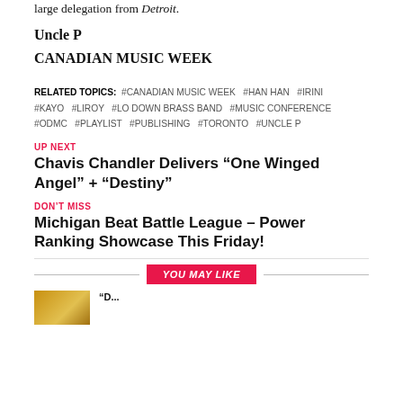large delegation from Detroit.
Uncle P
CANADIAN MUSIC WEEK
RELATED TOPICS: #CANADIAN MUSIC WEEK #HAN HAN #IRINI #KAYO #LIROY #LO DOWN BRASS BAND #MUSIC CONFERENCE #ODMC #PLAYLIST #PUBLISHING #TORONTO #UNCLE P
UP NEXT
Chavis Chandler Delivers “One Winged Angel” + “Destiny”
DON’T MISS
Michigan Beat Battle League – Power Ranking Showcase This Friday!
YOU MAY LIKE
[Figure (other): Thumbnail image with golden/yellow tones]